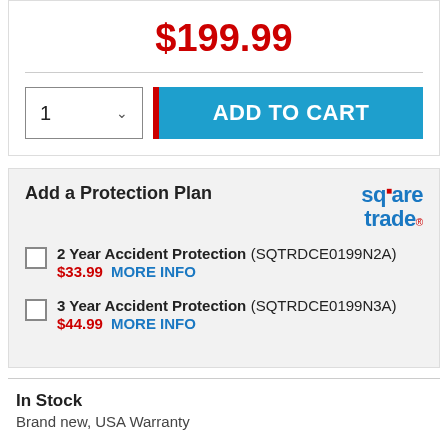$199.99
[Figure (screenshot): Quantity selector dropdown showing '1' with a chevron, and a red vertical divider followed by a blue 'ADD TO CART' button]
Add a Protection Plan
[Figure (logo): SquareTrade logo in blue and red text]
2 Year Accident Protection (SQTRDCE0199N2A) $33.99 MORE INFO
3 Year Accident Protection (SQTRDCE0199N3A) $44.99 MORE INFO
In Stock
Brand new, USA Warranty